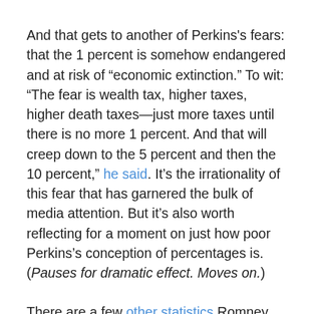And that gets to another of Perkins's fears: that the 1 percent is somehow endangered and at risk of “economic extinction.” To wit: “The fear is wealth tax, higher taxes, higher death taxes—just more taxes until there is no more 1 percent. And that will creep down to the 5 percent and then the 10 percent,” he said. It’s the irrationality of this fear that has garnered the bulk of media attention. But it’s also worth reflecting for a moment on just how poor Perkins’s conception of percentages is. (Pauses for dramatic effect. Moves on.)
There are a few other statistics Romney didn’t mention, such as that two-thirds of households that don’t pay federal income tax do pay payroll taxes. Or that 18 percent of all tax filers paid neither payroll nor income taxes. Of those who paid neither, nearly all of them were elderly or